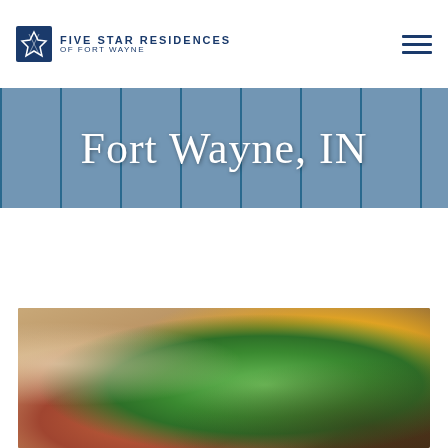[Figure (logo): Five Star Residences of Fort Wayne logo with blue star/flag icon and uppercase text]
[Figure (illustration): Hamburger menu icon with three horizontal dark blue lines]
[Figure (photo): Hero banner image showing a dining/catering table scene with teal/blue overlay]
Fort Wayne, IN
[Figure (photo): Close-up food photography showing green asparagus, yellow flowers/garnish, and other colorful food items on a white plate with blurred warm background]